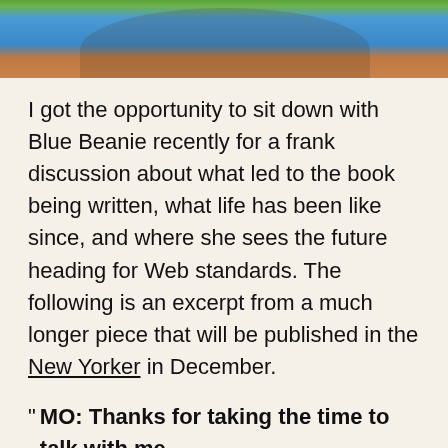[Figure (photo): Cropped photo showing the forehead and hat area of a person wearing a blue beanie hat, with a green background.]
I got the opportunity to sit down with Blue Beanie recently for a frank discussion about what led to the book being written, what life has been like since, and where she sees the future heading for Web standards. The following is an excerpt from a much longer piece that will be published in the New Yorker in December.
“ MO: Thanks for taking the time to talk with me.
BB: Absolutely. I suppose with Blue